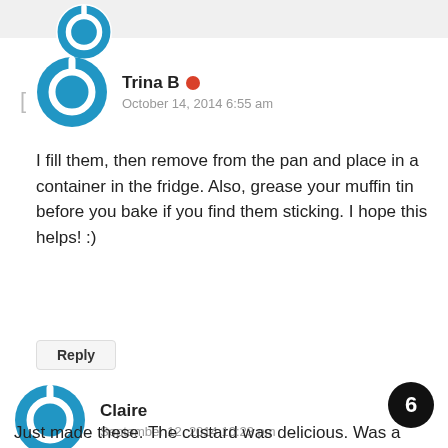[Figure (illustration): Partial view of a user avatar (cropped at top of page) — circular icon with blue power/circle symbol]
Trina B
October 14, 2014 6:55 am
I fill them, then remove from the pan and place in a container in the fridge. Also, grease your muffin tin before you bake if you find them sticking. I hope this helps! :)
Reply
Claire
September 12, 2014 10:23 pm
Just made these. The custard was delicious. Was a little lumpy so I put it through a sieve. Also, my crust was crumbly and I realised I had put the chopped